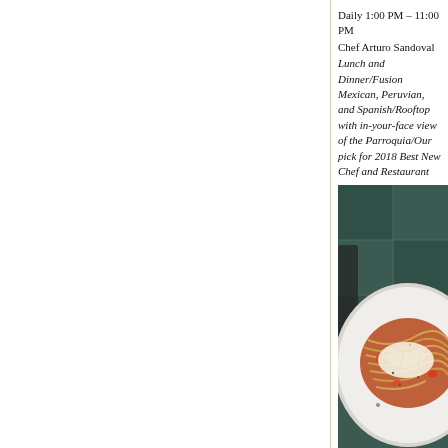Daily 1:00 PM – 11:00 PM
Chef Arturo Sandoval
Lunch and Dinner/Fusion Mexican, Peruvian, and Spanish/Rooftop with in-your-face view of the Parroquia/Our pick for 2018 Best New Chef and Restaurant
[Figure (photo): A white plate with pasta (spaghetti) topped with grated cheese and tomato sauce, photographed on a dark teal/green textured surface from above]